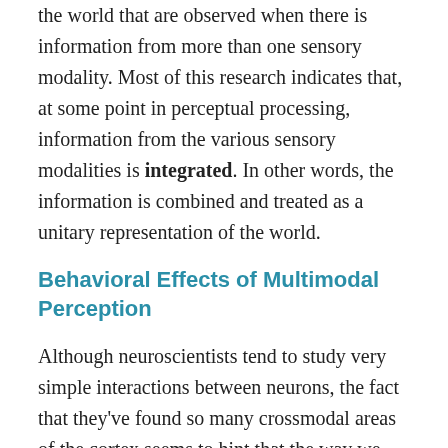the world that are observed when there is information from more than one sensory modality. Most of this research indicates that, at some point in perceptual processing, information from the various sensory modalities is integrated. In other words, the information is combined and treated as a unitary representation of the world.
Behavioral Effects of Multimodal Perception
Although neuroscientists tend to study very simple interactions between neurons, the fact that they've found so many crossmodal areas of the cortex seems to hint that the way we experience the world is fundamentally multimodal. Our intuitions about perception are consistent with this; it does not seem as though our perception of events is constrained to the perception of each sensory modality independently